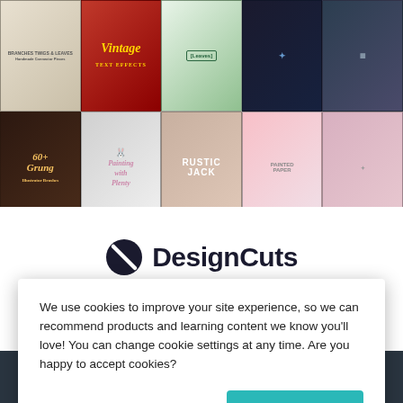[Figure (screenshot): Grid of design product thumbnails including Vintage Text Effects, Grunge Illustrator Brushes, Rustic Jack, Painted Paper, and other design resources on a dark background]
[Figure (logo): DesignCuts logo with circular icon and bold text 'DesignCuts']
Design Cuts, providing the very best design resources at prices affordable for everyone
We use cookies to improve your site experience, so we can recommend products and learning content we know you'll love! You can change cookie settings at any time. Are you happy to accept cookies?
Manage Cookie Preferences
Yes I'm Happy
TOP